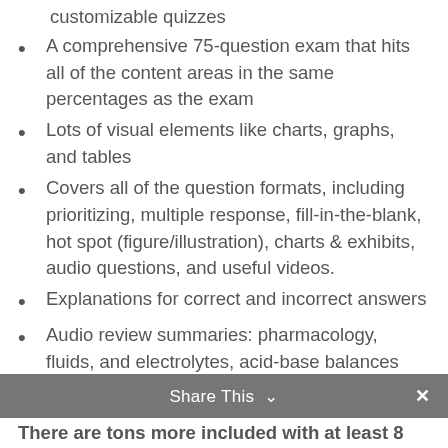customizable quizzes
A comprehensive 75-question exam that hits all of the content areas in the same percentages as the exam
Lots of visual elements like charts, graphs, and tables
Covers all of the question formats, including prioritizing, multiple response, fill-in-the-blank, hot spot (figure/illustration), charts & exhibits, audio questions, and useful videos.
Explanations for correct and incorrect answers
Audio review summaries: pharmacology, fluids, and electrotyles, acid-base balances
Tips and advice on test-taking, the CAT (computer adaptive test), and views on the NCLEX from nurses who've passed it
Share This ∨  ✕
There are tons more included with at least 8